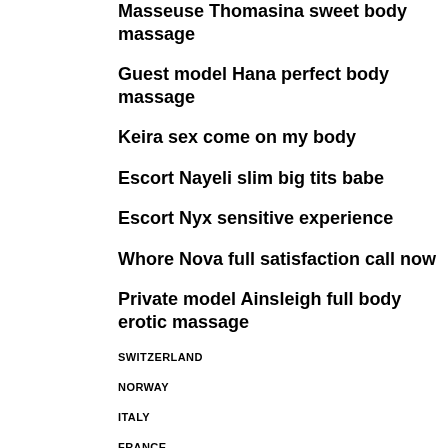Masseuse Thomasina sweet body massage
Guest model Hana perfect body massage
Keira sex come on my body
Escort Nayeli slim big tits babe
Escort Nyx sensitive experience
Whore Nova full satisfaction call now
Private model Ainsleigh full body erotic massage
SWITZERLAND
NORWAY
ITALY
FRANCE
PORTUGAL
GERMANY